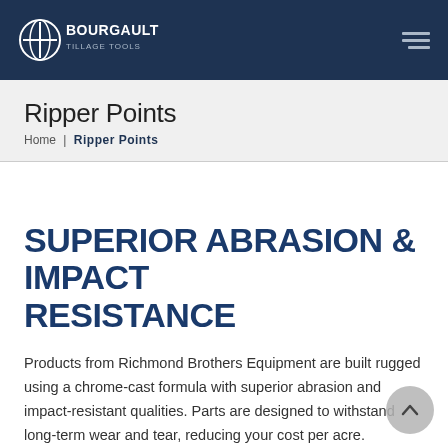Bourgault Tillage Tools — navigation header
Ripper Points
Home | Ripper Points
SUPERIOR ABRASION & IMPACT RESISTANCE
Products from Richmond Brothers Equipment are built rugged using a chrome-cast formula with superior abrasion and impact-resistant qualities. Parts are designed to withstand long-term wear and tear, reducing your cost per acre.